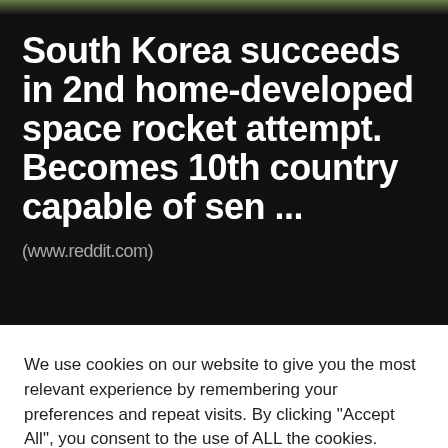South Korea succeeds in 2nd home-developed space rocket attempt. Becomes 10th country capable of sen ... (www.reddit.com)
We use cookies on our website to give you the most relevant experience by remembering your preferences and repeat visits. By clicking "Accept All", you consent to the use of ALL the cookies. However, you may visit "Cookie Settings" to provide a controlled consent.